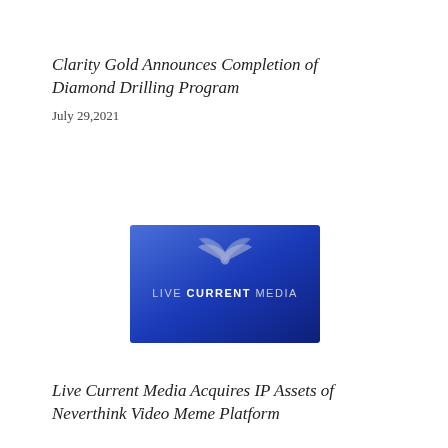Clarity Gold Announces Completion of Diamond Drilling Program
July 29, 2021
[Figure (logo): Live Current Media logo — blue gradient background with white dove/wing icon and text 'LIVE CURRENT MEDIA']
Live Current Media Acquires IP Assets of Neverthink Video Meme Platform